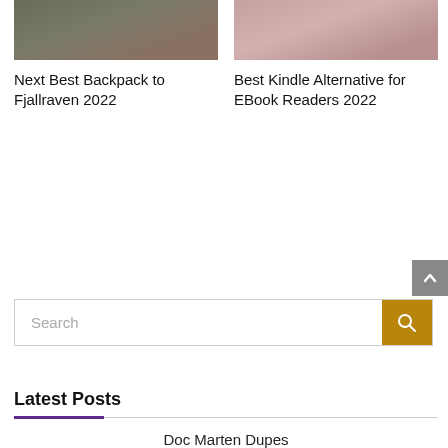[Figure (photo): Top portion of a card showing a person with a backpack outdoors, partially cropped]
[Figure (photo): Top portion of a card showing a person holding an e-reader device, partially cropped]
Next Best Backpack to Fjallraven 2022
Best Kindle Alternative for EBook Readers 2022
Search
Latest Posts
Doc Marten Dupes